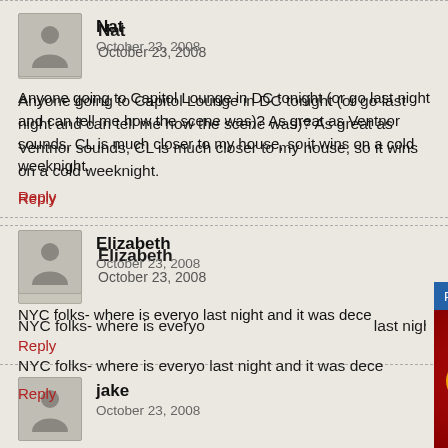[Figure (other): User avatar placeholder for Nat - gray silhouette icon]
Nat
October 23, 2008
Anyone going to Capitol Lounge in DC tonight (or go last night and can tell me how the scene was)? As great as Ventnor sounds, CL is much closer to my house, so it wins on a cold weeknight.
Reply
[Figure (other): User avatar placeholder for Elizabeth - gray silhouette icon]
Elizabeth
October 23, 2008
NYC folks- where is everyone going tonight? I went to [venue] last night and it was dece[nt]...
Reply
[Figure (other): User avatar placeholder for jake - gray silhouette icon]
jake
October 23, 2008
is there anything going on...
[Figure (screenshot): Video popup overlay: Phillies vs. Giants Highlights - Wilmer Fl... with close button X, showing Phillies P logo on red background and SF Giants logo on dark background, with mute button icon]